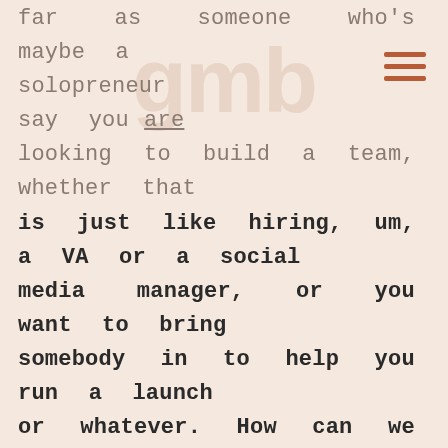far as someone who's maybe a solopreneur but let's say you are looking to build a team, whether that is just like hiring, um, a VA or a social media manager, or you want to bring somebody in to help you run a launch or whatever. How can we utilize human design when we're looking at building that team? Because I think that's a fear that a lot of us have is like, we're handing over part of our business to somebody. So how do we know that we're handing it over to